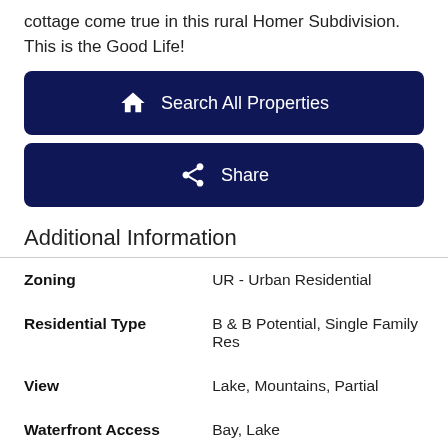cottage come true in this rural Homer Subdivision. This is the Good Life!
[Figure (other): Dark navy blue button with home icon and text 'Search All Properties']
[Figure (other): Dark navy blue button with share/arrow icon and text 'Share']
Additional Information
| Zoning | UR - Urban Residential |
| Residential Type | B & B Potential, Single Family Res |
| View | Lake, Mountains, Partial |
| Waterfront Access | Bay, Lake |